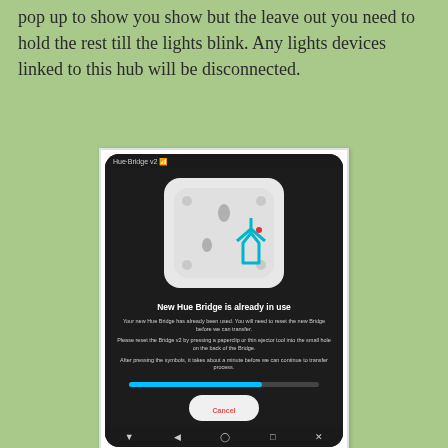pop up to show you show but the leave out you need to hold the rest till the lights blink. Any lights devices linked to this hub will be disconnected.
[Figure (screenshot): A smartphone screen showing a Philips Hue app dialog titled 'New Hue Bridge is already in use'. The screen displays a Hue Bridge device icon on a light background, followed by text explaining that the bridge has already been used and needs to be reset. There is a progress bar at the bottom and a Cancel button. The phone shows Android navigation buttons at the bottom.]